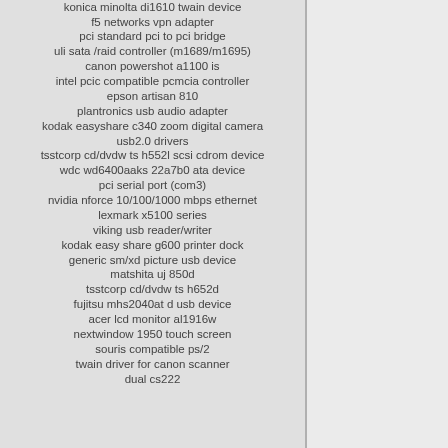konica minolta di1610 twain device
f5 networks vpn adapter
pci standard pci to pci bridge
uli sata /raid controller (m1689/m1695)
canon powershot a1100 is
intel pcic compatible pcmcia controller
epson artisan 810
plantronics usb audio adapter
kodak easyshare c340 zoom digital camera
usb2.0 drivers
tsstcorp cd/dvdw ts h552l scsi cdrom device
wdc wd6400aaks 22a7b0 ata device
pci serial port (com3)
nvidia nforce 10/100/1000 mbps ethernet
lexmark x5100 series
viking usb reader/writer
kodak easy share g600 printer dock
generic sm/xd picture usb device
matshita uj 850d
tsstcorp cd/dvdw ts h652d
fujitsu mhs2040at d usb device
acer lcd monitor al1916w
nextwindow 1950 touch screen
souris compatible ps/2
twain driver for canon scanner
dual cs222